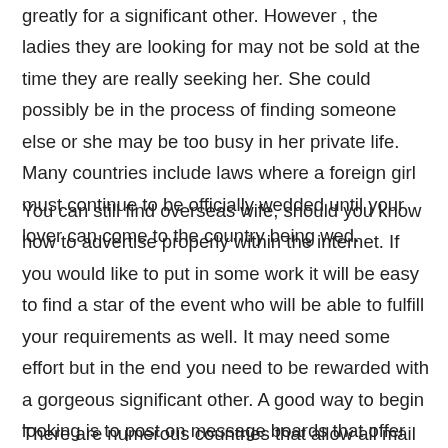greatly for a significant other. However , the ladies they are looking for may not be sold at the time they are really seeking her. She could possibly be in the process of finding someone else or she may be too busy in her private life. Many countries include laws where a foreign girl must continue to be officially wedded until your lover can come to the country being wed.
You can still find overseas wife, should you know how to advertise properly within the internet. If you would like to put in some work it will be easy to find a star of the event who will be able to fulfill your requirements as well. It may need some effort but in the end you need to be rewarded with a gorgeous significant other. A good way to begin looking is to post on message boards that offer dating services. There are many different types of websites that appeal to people trying to find life companions so ensure you use one which is appropriate for your situation.
There are numerous countries that allow all mail order birdes-to-be